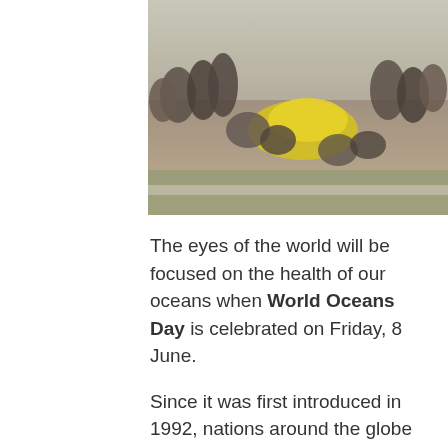[Figure (photo): Outdoor scene showing people gathered around what appears to be a beach or sandy area with yellow material/nets. People are seated and standing in a crowd.]
The eyes of the world will be focused on the health of our oceans when World Oceans Day is celebrated on Friday, 8 June.
Since it was first introduced in 1992, nations around the globe participated in the planet's biggest celebration of the ocean on this date as they raise awareness of the important role the sea has to play as a source of food, oxygen, medicine and trade routes.
This year, Plastics|SA is reaching out and encouraging South Africa's youth to recognise their importance within the global 2012